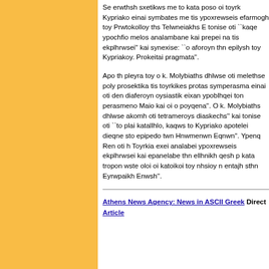Se erwthsh sxetikws me to kata poso oi toyrkikes protaseis gia to Kypriako einai symbates me tis ypoxrewseis ths Toyrkias gia thn efarmogh toy Prwtokolloy ths Telwneiakhs Enwshs, o k. Ren tonise oti ``kaqe ypochfio melos analambanei ypoxrewseis kai prepei na tis ekplhrwsei'' kai synexise: ``o,ti aforoyn thn epilysh toy Kypriakoy. Prokeitai gi' ayto ta pragmata''.
Apo th pleyra toy o k. Molybiaths dhlwse oti h ellhnikh pleyra melethse poly prosektika tis toyrkikes protaseis kai to symperasma einai oti den diaferoyn oysiastika apo aytes poy eixan ypoblhqei ton perasmeno Maio kai oi o,poies ``aposyrqhkan poyqena''. O k. Molybiaths dhlwse akomh oti apokrinetai sth qesh ``tetrameroys diaskechs'' kai tonise oti ``to plaisio den einai katallhlo, kaqws to Kypriako apotelei dieqnes zhthma kai prepei na lyqei sto epipedo twn Hnwmenwn Eqnwn''. Ypenqymise epiprosqetws o k. Ren oti h Toyrkia exei analabei ypoxrewseis tis opoies prepei na ekplhrwsei kai epanelabe thn ellhnikh qesh pws ``h Kypros prepei kata tropon wste oloi oi katoikoi toy nhsioy na mporoun na laboun entajh sthn Eyrwpaikh Enwsh''.
Athens News Agency: News in ASCII Greek Directory - Previous Article